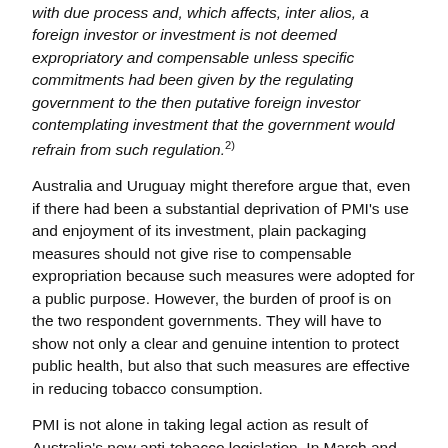with due process and, which affects, inter alios, a foreign investor or investment is not deemed expropriatory and compensable unless specific commitments had been given by the regulating government to the then putative foreign investor contemplating investment that the government would refrain from such regulation.2)
Australia and Uruguay might therefore argue that, even if there had been a substantial deprivation of PMI's use and enjoyment of its investment, plain packaging measures should not give rise to compensable expropriation because such measures were adopted for a public purpose. However, the burden of proof is on the two respondent governments. They will have to show not only a clear and genuine intention to protect public health, but also that such measures are effective in reducing tobacco consumption.
PMI is not alone in taking legal action as result of Australia's new anti-tobacco legislation. In March and April 2012, respectively, Ukraine and Honduras filed a dispute at the WTO against Australia in connection with the new plain packaging measures covering tobacco products. Ukraine [external link] claims that:
Australia's measures, especially viewed in the context of Australia's comprehensive tobacco regulatory regime, appear to be